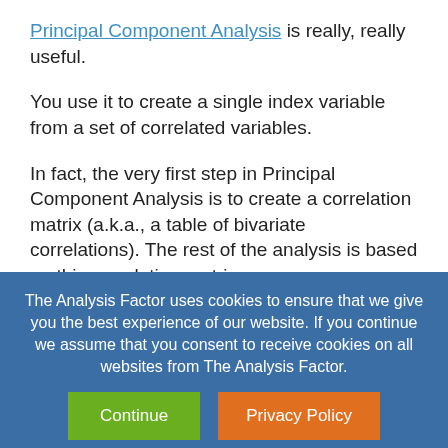Principal Component Analysis is really, really useful.
You use it to create a single index variable from a set of correlated variables.
In fact, the very first step in Principal Component Analysis is to create a correlation matrix (a.k.a., a table of bivariate correlations). The rest of the analysis is based on this correlation matrix.
The Analysis Factor uses cookies to ensure that we give you the best experience of our website. If you continue we assume that you consent to receive cookies on all websites from The Analysis Factor.